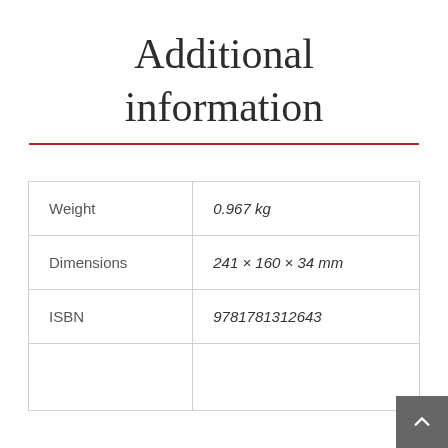Additional information
| Weight | 0.967 kg |
| Dimensions | 241 × 160 × 34 mm |
| ISBN | 9781781312643 |